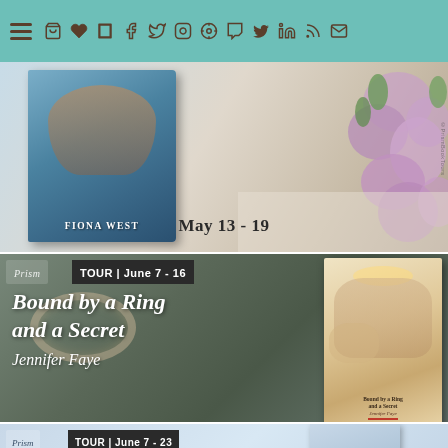Navigation bar with hamburger menu, cart, heart, book, Facebook, Twitter, Instagram, Pinterest, Tumblr, YouTube, LinkedIn, RSS, and mail icons
[Figure (photo): Book tour banner for Fiona West book with a blue illustrated book cover showing a woman, dated May 13 - 19, with purple flowers in background]
[Figure (photo): Book tour banner for 'Bound by a Ring and a Secret' by Jennifer Faye, Tour June 7 - 16, with book cover showing woman and dog, dark wood background]
[Figure (photo): Book tour banner for 'The [something]' by Pamela Kelley, Tour June 7 - 23, partially visible at bottom, light blue background]